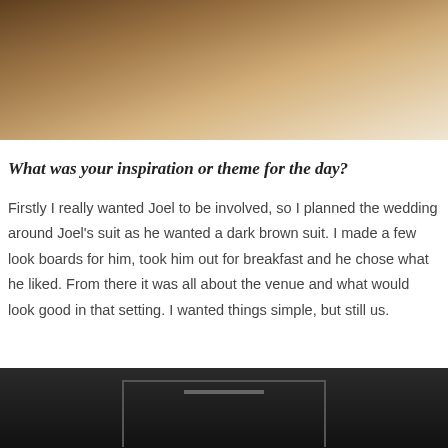[Figure (photo): A brownish warm-toned photograph, likely an interior or object shot with shallow depth of field]
What was your inspiration or theme for the day?
Firstly I really wanted Joel to be involved, so I planned the wedding around Joel's suit as he wanted a dark brown suit. I made a few look boards for him, took him out for breakfast and he chose what he liked. From there it was all about the venue and what would look good in that setting. I wanted things simple, but still us.
[Figure (photo): A dark black and white photograph of an interior space, possibly a barn or industrial venue with structural beams visible]